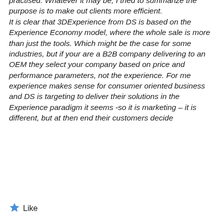practised. Whatever it may be, I tried to summarize the purpose is to make out clients more efficient. It is clear that 3DExperience from DS is based on the Experience Economy model, where the whole sale is more than just the tools. Which might be the case for some industries, but if your are a B2B company delivering to an OEM they select your company based on price and performance parameters, not the experience. For me experience makes sense for consumer oriented business and DS is targeting to deliver their solutions in the Experience paradigm it seems -so it is marketing – it is different, but at then end their customers decide
Like